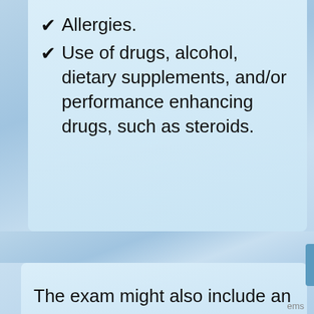Allergies.
Use of drugs, alcohol, dietary supplements, and/or performance enhancing drugs, such as steroids.
The exam might also include an evaluation of musculoskeletal issues such as posture, scoliosis, joint range of motion, knee extension, gait, and function of the arms and legs. An assessment of the athlete's flexibility and endurance might also be conducted. The doctor, a coach, or an